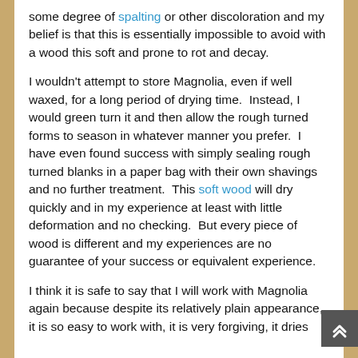some degree of spalting or other discoloration and my belief is that this is essentially impossible to avoid with a wood this soft and prone to rot and decay.
I wouldn't attempt to store Magnolia, even if well waxed, for a long period of drying time.  Instead, I would green turn it and then allow the rough turned forms to season in whatever manner you prefer.  I have even found success with simply sealing rough turned blanks in a paper bag with their own shavings and no further treatment.  This soft wood will dry quickly and in my experience at least with little deformation and no checking.  But every piece of wood is different and my experiences are no guarantee of your success or equivalent experience.
I think it is safe to say that I will work with Magnolia again because despite its relatively plain appearance, it is so easy to work with, it is very forgiving, it dries